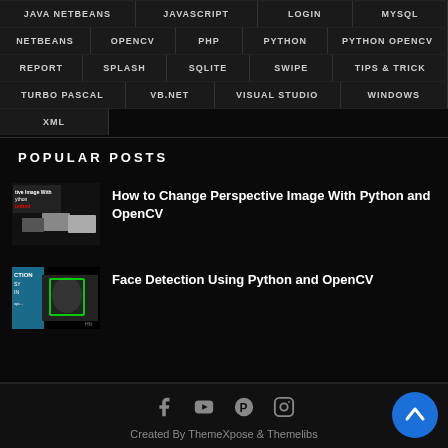JAVA NETBEANS | JAVASCRIPT | LOGIN | MYSQL | NETBEANS | OPENCV | PHP | PYTHON | PYTHON OPENCV | REPORT | SPLASH | SQLITE | SWIPE | TIPS & TRICK | TURBO PASCAL | VB.NET | VISUAL STUDIO | WINDOWS | XML
POPULAR POSTS
[Figure (photo): Thumbnail for 'How to Change Perspective Image With Python and OpenCV' showing perspective image transformation]
How to Change Perspective Image With Python and OpenCV
[Figure (photo): Thumbnail for 'Face Detection Using Python and OpenCV' showing face detection with green box around a face]
Face Detection Using Python and OpenCV
Created By ThemeXpose & Themelibs